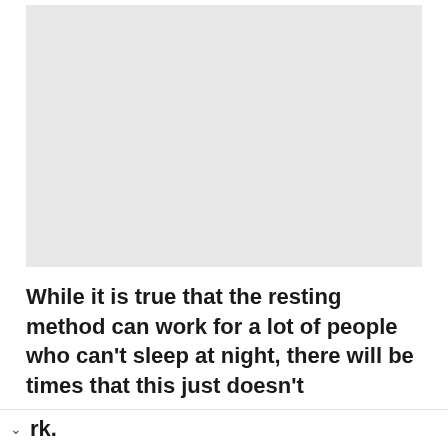[Figure (other): Large light gray rectangular placeholder image area]
While it is true that the resting method can work for a lot of people who can't sleep at night, there will be times that this just doesn't work.